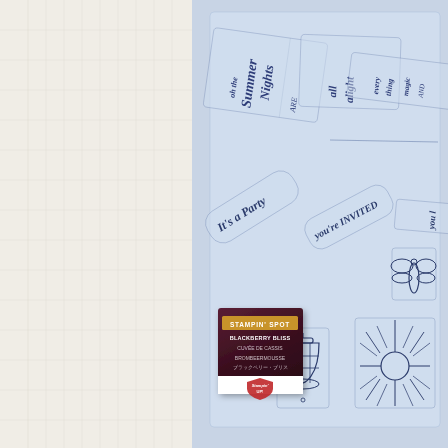[Figure (photo): Photo of a Stampin' Up! crafting scene. Left half shows a white/cream textured paper or craft mat background. Right half has a light blue-grey background with a clear acrylic stamp set containing multiple rubber stamps with party/celebration sentiments including 'oh the Summer Nights', 'all alight', 'everything magic', 'It's a Party', 'You're Invited', 'you light...', plus decorative stamps of a firefly/dragonfly, a lantern, and a starburst/sun design. In the foreground sits a small Stampin' Spot ink pad in Blackberry Bliss color with the label showing: STAMPIN' SPOT / BLACKBERRY BLISS / CUVEE DE CASSIS / BROMBEERMOUSSE / ブラックベリー・ブリス and the Stampin' Up! logo at the bottom.]